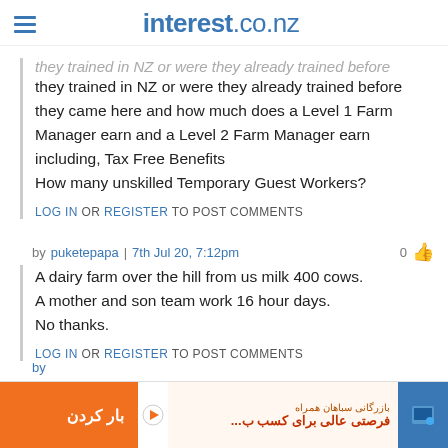interest.co.nz
they trained in NZ or were they already trained before they came here and how much does a Level 1 Farm Manager earn and a Level 2 Farm Manager earn including, Tax Free Benefits
How many unskilled Temporary Guest Workers?
LOG IN OR REGISTER TO POST COMMENTS
by puketepapa | 7th Jul 20, 7:12pm  0
A dairy farm over the hill from us milk 400 cows.
A mother and son team work 16 hour days.
No thanks.
LOG IN OR REGISTER TO POST COMMENTS
[Figure (other): Advertisement banner in Farsi/Persian with orange button and laptop icon]